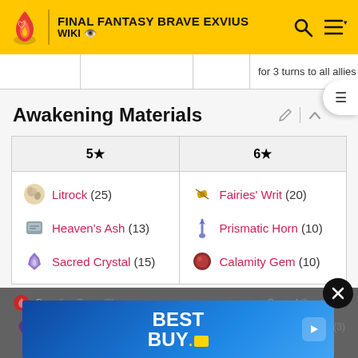FINAL FANTASY BRAVE EXVIUS WIKI
for 3 turns to all allies
Awakening Materials
| 5★ | 6★ |
| --- | --- |
| Litrock (25) | Fairies' Writ (20) |
| Heaven's Ash (13) | Prismatic Horn (10) |
| Sacred Crystal (15) | Calamity Gem (10) |
[Figure (screenshot): Best Buy advertisement banner with blue gradient background and white bold text reading BEST BUY with yellow trademark symbol]